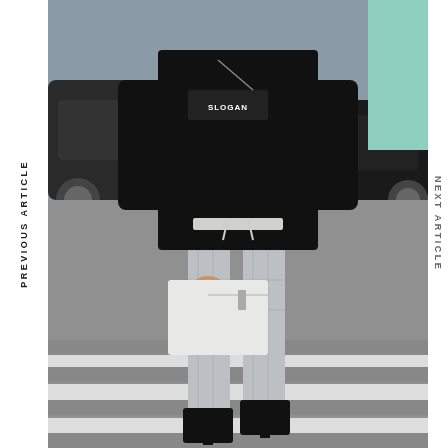[Figure (photo): Street style fashion photo of a person wearing a black sweatshirt and grey plaid cropped trousers with black ankle boots, holding a white leather clutch bag, standing on a zebra crossing. Cars visible in background.]
PREVIOUS ARTICLE
NEXT ARTICLE